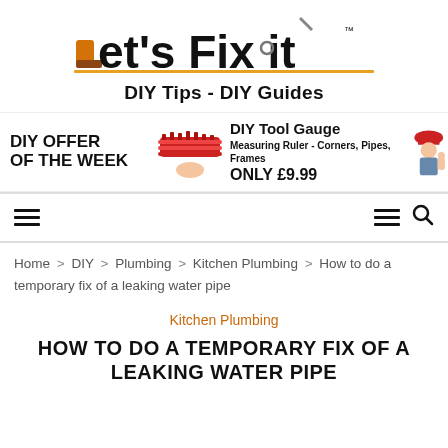[Figure (logo): Let's Fix It logo with DIY tools incorporated into letters, with yellow underline and TM mark]
DIY Tips - DIY Guides
[Figure (infographic): DIY OFFER OF THE WEEK - DIY Tool Gauge, Measuring Ruler - Corners, Pipes, Frames, ONLY £9.99 advertisement banner with red tool gauge image and woman in hard hat]
[Figure (other): Navigation bar with hamburger menu icons on left and right, and search icon on right]
Home > DIY > Plumbing > Kitchen Plumbing > How to do a temporary fix of a leaking water pipe
Kitchen Plumbing
HOW TO DO A TEMPORARY FIX OF A LEAKING WATER PIPE